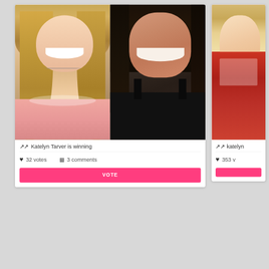[Figure (photo): Mobile app screenshot showing a voting/comparison interface with two cards. The main card shows two women side by side (blonde woman in pink lace top on left, brunette woman in black tank top on right), with text 'Katelyn Tarver is winning', 32 votes, 3 comments, and a pink VOTE button. A second partially visible card on the right shows a woman in a red shirt with 353 votes and another pink VOTE button. The background is light gray.]
Katelyn Tarver is winning
32 votes
3 comments
VOTE
katelyn
353 v